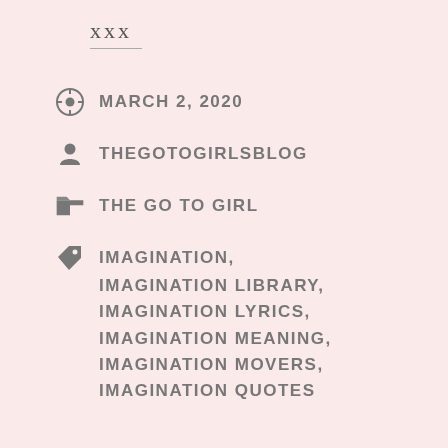xxx
MARCH 2, 2020
THEGOTOGIRLSBLOG
THE GO TO GIRL
IMAGINATION, IMAGINATION LIBRARY, IMAGINATION LYRICS, IMAGINATION MEANING, IMAGINATION MOVERS, IMAGINATION QUOTES